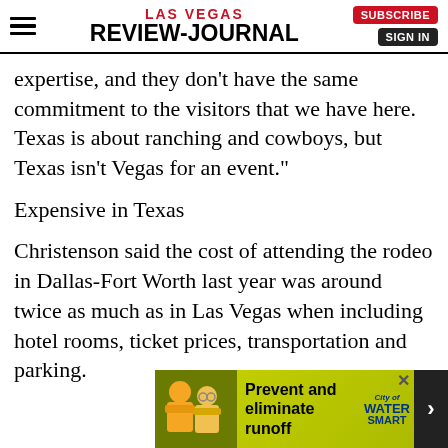Las Vegas Review-Journal
expertise, and they don’t have the same commitment to the visitors that we have here. Texas is about ranching and cowboys, but Texas isn’t Vegas for an event.”
Expensive in Texas
Christenson said the cost of attending the rodeo in Dallas‑Fort Worth last year was around twice as much as in Las Vegas when including hotel rooms, ticket prices, transportation and parking.
[Figure (other): Advertisement banner: Two workers in yellow vests, text 'Prevent and eliminate runoff', City Water Smart logo]